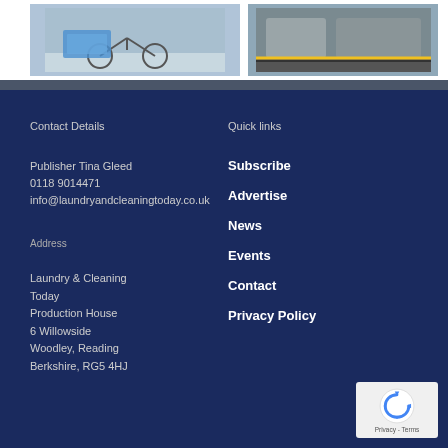[Figure (photo): Photo of a cargo bicycle with a blue box/container on a street]
[Figure (photo): Photo of industrial laundry or cleaning machinery with yellow safety markings]
Contact Details
Publisher Tina Gleed
0118 9014471
info@laundryandcleaningtoday.co.uk
Address
Laundry & Cleaning Today
Production House
6 Willowside
Woodley, Reading
Berkshire, RG5 4HJ
Quick links
Subscribe
Advertise
News
Events
Contact
Privacy Policy